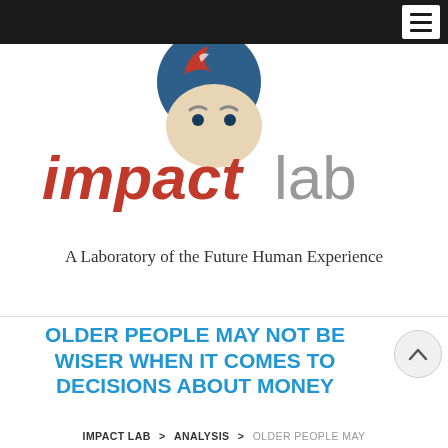[Navigation bar with hamburger menu]
[Figure (logo): Impact Lab logo: stylized cartoon face with red and blue pompadour hair, eyes formed by letter 'p' and 'a', text reading 'impact' in red and 'lab' in gray. Tagline: A Laboratory of the Future Human Experience]
OLDER PEOPLE MAY NOT BE WISER WHEN IT COMES TO DECISIONS ABOUT MONEY
IMPACT LAB > ANALYSIS > OLDER PEOPLE MAY